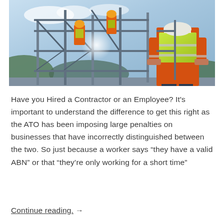[Figure (photo): Construction workers on scaffolding at a building site. A worker in an orange long-sleeve shirt and yellow high-visibility vest stands with back to camera in the foreground, while two other workers in orange safety vests and hard hats work on the scaffold structure in the background. Blue sky and green hills visible.]
Have you Hired a Contractor or an Employee? It's important to understand the difference to get this right as the ATO has been imposing large penalties on businesses that have incorrectly distinguished between the two. So just because a worker says “they have a valid ABN” or that “they’re only working for a short time”
Continue reading.  →